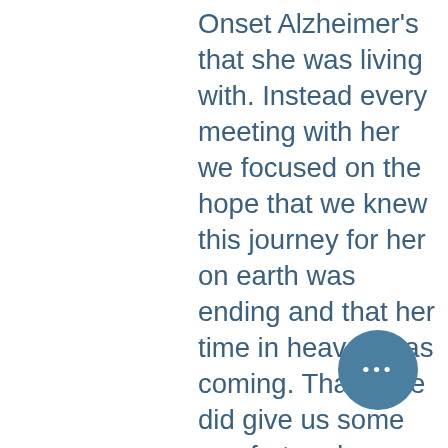Onset Alzheimer's that she was living with. Instead every meeting with her we focused on the hope that we knew this journey for her on earth was ending and that her time in heaven was coming. That hope did give us some comfort and we were so thankful we got the three months with her.
It was my mother who taught me that my attitude matters. We can take adversity head on with Hope that God is with us and we are not alone in this time. Or we can have a pity party that no one will attend. Living a life of thanksliving is sometimes taking a bad situation and finding light in it. It is there, we just have wade through the muck to find it and